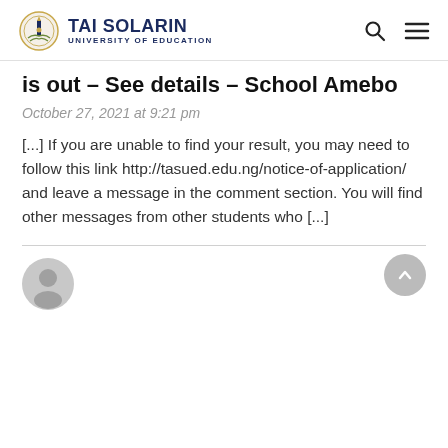[Figure (logo): Tai Solarin University of Education logo with shield emblem and text]
is out - See details - School Amebo
October 27, 2021 at 9:21 pm
[...] If you are unable to find your result, you may need to follow this link http://tasued.edu.ng/notice-of-application/ and leave a message in the comment section. You will find other messages from other students who [...]
[Figure (illustration): Generic user avatar (grey silhouette person icon)]
[Figure (other): Scroll to top button (grey circle with upward chevron)]